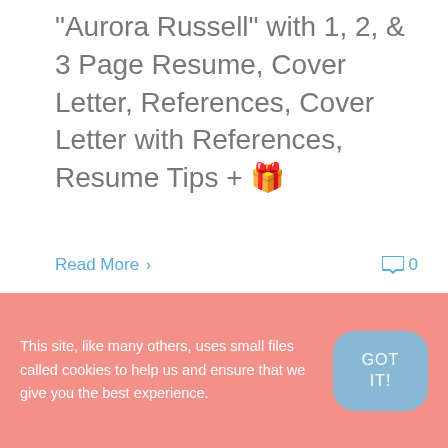"Aurora Russell" with 1, 2, & 3 Page Resume, Cover Letter, References, Cover Letter with References, Resume Tips + 🎁
Read More >
0
This site, like many others, uses small files called cookies to help us and ensure that we give you the best experience.
GOT IT!